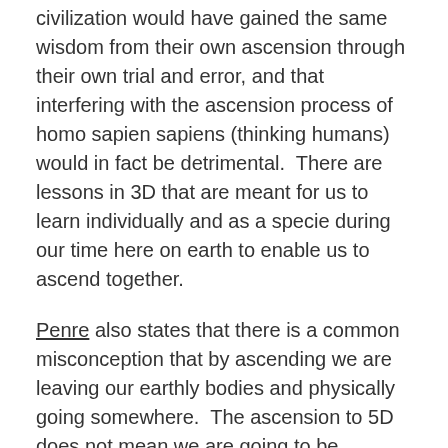civilization would have gained the same wisdom from their own ascension through their own trial and error, and that interfering with the ascension process of homo sapien sapiens (thinking humans) would in fact be detrimental.  There are lessons in 3D that are meant for us to learn individually and as a specie during our time here on earth to enable us to ascend together.
Penre also states that there is a common misconception that by ascending we are leaving our earthly bodies and physically going somewhere.  The ascension to 5D does not mean we are going to be beamed up somewhere.  That is not to say it couldn't happen.  It simply means that the ascension process involves more of our DNA